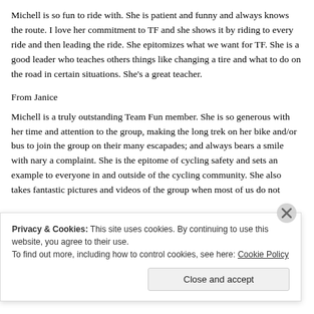Michell is so fun to ride with. She is patient and funny and always knows the route. I love her commitment to TF and she shows it by riding to every ride and then leading the ride. She epitomizes what we want for TF. She is a good leader who teaches others things like changing a tire and what to do on the road in certain situations. She's a great teacher.
From Janice
Michell is a truly outstanding Team Fun member. She is so generous with her time and attention to the group, making the long trek on her bike and/or bus to join the group on their many escapades; and always bears a smile with nary a complaint. She is the epitome of cycling safety and sets an example to everyone in and outside of the cycling community. She also takes fantastic pictures and videos of the group when most of us do not
Privacy & Cookies: This site uses cookies. By continuing to use this website, you agree to their use.
To find out more, including how to control cookies, see here: Cookie Policy
Close and accept